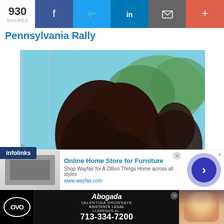930 SHARES | Facebook | Twitter | LinkedIn | Email | More
Pennsylvania Rally
[Figure (photo): A person with dark hair bowing their head, seemingly in prayer or reflection, with another person visible in the background. A teal/blue bar is at the bottom of the image. Green trees visible in background through glass.]
The Skanner delivers...to your inbox! Breaking news, local stories & events sent twice a week
Subscribe
[Figure (screenshot): Infolinks advertisement bar showing Wayfair online home store ad: 'Online Home Store for Furniture', 'Shop Wayfair for A Zillion Things Home across all styles', 'www.wayfair.com' with a chevron navigation button and close button.]
[Figure (screenshot): Abogada Valentina Oronsaye advertisement banner in black with oval logo, name, 'LLÁMENOS AL: 713-334-7200', photo of woman in traditional dress on right side.]